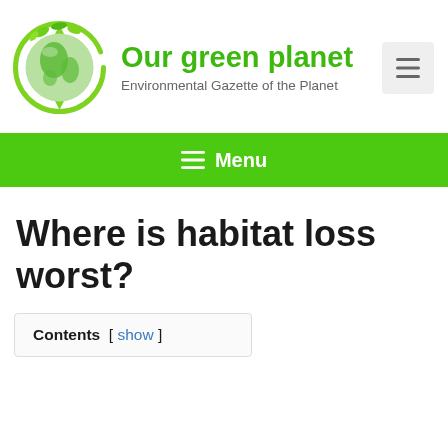[Figure (logo): Green planet logo: globe with green leaves and circular arrows]
Our green planet
Environmental Gazette of the Planet
[Figure (other): Hamburger menu toggle button (three horizontal lines)]
≡ Menu
Where is habitat loss worst?
Contents [ show ]